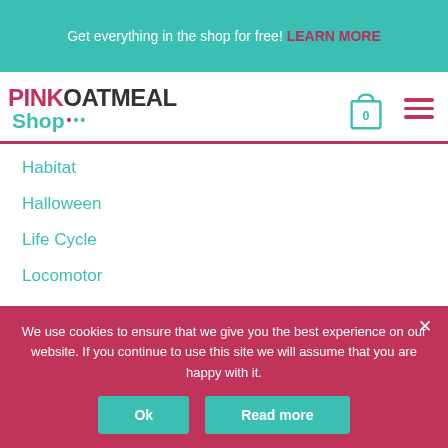Get everything in the shop for free! LEARN MORE
[Figure (logo): Pink Oatmeal Shop logo with shopping bag icon and hamburger menu]
Habitat
Halloween
Life Cycle
Locomotor
We use cookies to ensure that we give you the best experience on our website. If you continue to use this site we will assume that you are happy with it.
Ok
Read more